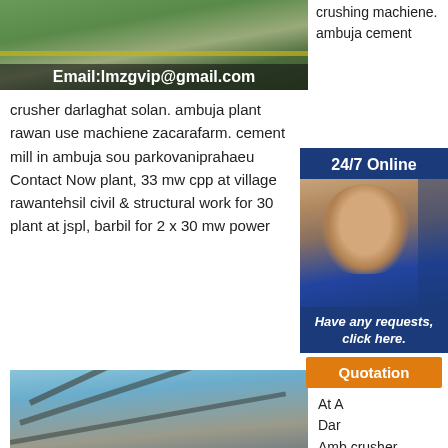[Figure (photo): Industrial crushing/mining machinery with conveyor belts, Email:lmzgvip@gmail.com overlay]
crushing machiene. ambuja cement
crusher darlaghat solan. ambuja plant rawan use machiene zacarafarm. cement mill in ambuja sou parkovaniprahaeu Contact Now plant, 33 mw cpp at village rawantehsil civil & structural work for 30 plant at jspl, barbil for 2 x 30 mw power
[Figure (photo): Industrial conveyor belt system and mining plant, Email:lmzgvip@gmail.com overlay]
Cer At A Dar Amb crusher darlaghat solan.4.Raw mill of ambuja cement suli
darlaghat solan arki.State of hp and ors vs gujarat ambuja cement ltd and anr on 18,jul 18, 2005,as other issues are involved in gujarat